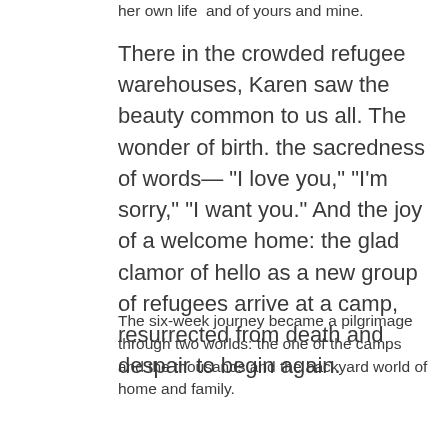her own life  and of yours and mine.
There in the crowded refugee warehouses, Karen saw the beauty common to us all. The wonder of birth. the sacredness of words— "I love you," "I'm sorry," "I want you." And the joy of a welcome home: the glad clamor of hello as a new group of refugees arrive at a camp, resurrected from death and despair to begin again.
The six-week journey became a pilgrimage through two worlds: the one of the camps and the thousands and the backyard world of home and family.